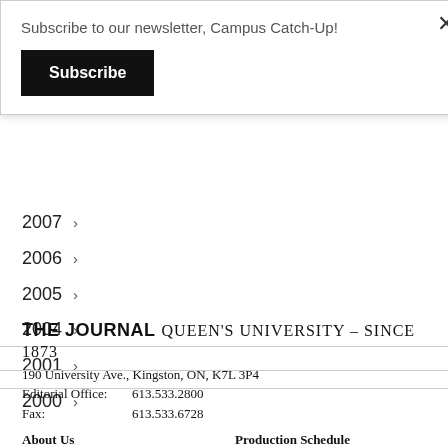Subscribe to our newsletter, Campus Catch-Up!
Subscribe
2007 >
2006 >
2005 >
2004 >
2001 >
2000 >
THE JOURNAL  QUEEN'S UNIVERSITY – SINCE 1873
190 University Ave., Kingston, ON, K7L 3P4
Editorial Office:  613.533.2800
Fax:  613.533.6728
About Us   Production Schedule